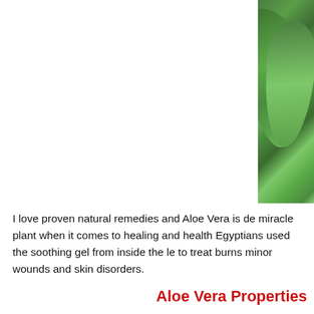[Figure (photo): Close-up photo of green aloe vera leaves/plant, cropped on the right side of the page]
I love proven natural remedies and Aloe Vera is de... miracle plant when it comes to healing and health... Egyptians used the soothing gel from inside the le... to treat burns minor wounds and skin disorders.
Aloe Vera Properties